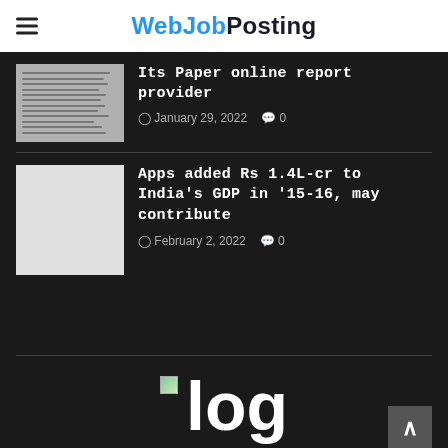WebJobPosting
Its Paper online report provider
January 29, 2022  0
Apps added Rs 1.4L-cr to India's GDP in '15-16, may contribute
February 2, 2022  0
[Figure (logo): WebJobPosting site logo showing 'log' in large white text]
logo